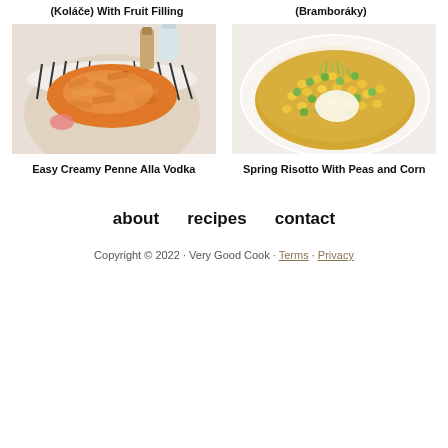(Koláče) With Fruit Filling
(Bramboráky)
[Figure (photo): Overhead photo of penne pasta in tomato sauce on a striped bowl]
[Figure (photo): Overhead photo of spring risotto with peas and corn in a white bowl]
Easy Creamy Penne Alla Vodka
Spring Risotto With Peas and Corn
about   recipes   contact
Copyright © 2022 · Very Good Cook · Terms · Privacy